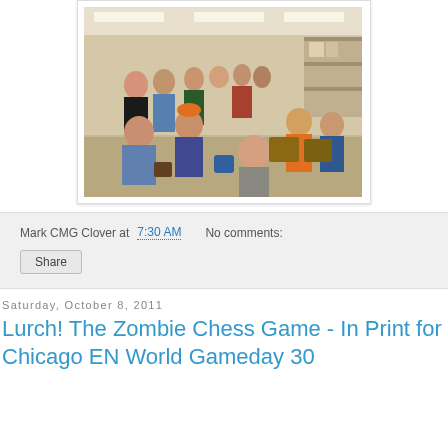[Figure (photo): Indoor photo of a crowd of people seated and standing in what appears to be a game convention or event room. Fluorescent lighting overhead, people of various ages, some wearing casual clothes including an orange cap and orange shirt.]
Mark CMG Clover at 7:30 AM   No comments:
Share
Saturday, October 8, 2011
Lurch! The Zombie Chess Game - In Print for Chicago EN World Gameday 30